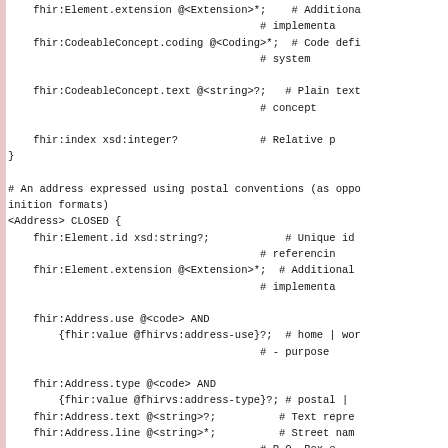FHIR ShEx schema code snippet showing fhir:Element.extension, fhir:CodeableConcept.coding, fhir:CodeableConcept.text, fhir:index, closing brace, Address shape definition with CLOSED block including fhir:Element.id, fhir:Element.extension, fhir:Address.use, fhir:Address.type, fhir:Address.text, fhir:Address.line, fhir:Address.city, fhir:Address.district, fhir:Address.state fields with inline comments